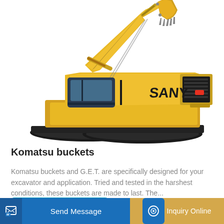[Figure (photo): Yellow SANY excavator with bucket arm raised, shown on white background]
Komatsu buckets
Komatsu buckets and G.E.T. are specifically designed for your excavator and application. Tried and tested in the harshest conditions, these buckets are made to last. The...
Learn More
Send Message
Inquiry Online